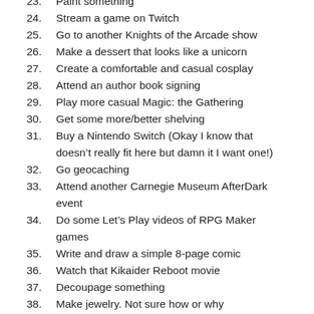23. Paint something
24. Stream a game on Twitch
25. Go to another Knights of the Arcade show
26. Make a dessert that looks like a unicorn
27. Create a comfortable and casual cosplay
28. Attend an author book signing
29. Play more casual Magic: the Gathering
30. Get some more/better shelving
31. Buy a Nintendo Switch (Okay I know that doesn’t really fit here but damn it I want one!)
32. Go geocaching
33. Attend another Carnegie Museum AfterDark event
34. Do some Let’s Play videos of RPG Maker games
35. Write and draw a simple 8-page comic
36. Watch that Kikaider Reboot movie
37. Decoupage something
38. Make jewelry. Not sure how or why
39. See a stand-up comedian
40. Check out the new X-Men comics that I’ve been